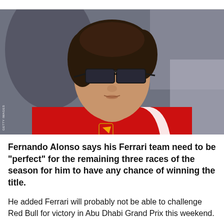[Figure (photo): Fernando Alonso wearing sunglasses and a red Ferrari team polo shirt, looking to the side against a blurred background. GETTY IMAGES watermark visible on the left side.]
Fernando Alonso says his Ferrari team need to be "perfect" for the remaining three races of the season for him to have any chance of winning the title.
He added Ferrari will probably not be able to challenge Red Bull for victory in Abu Dhabi Grand Prix this weekend.